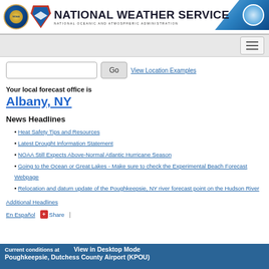NATIONAL WEATHER SERVICE — NATIONAL OCEANIC AND ATMOSPHERIC ADMINISTRATION
Your local forecast office is
Albany, NY
News Headlines
Heat Safety Tips and Resources
Latest Drought Information Statement
NOAA Still Expects Above-Normal Atlantic Hurricane Season
Going to the Ocean or Great Lakes - Make sure to check the Experimental Beach Forecast Webpage
Relocation and datum update of the Poughkeepsie, NY river forecast point on the Hudson River
Additional Headlines
En Español  Share  |
Current conditions at  View in Desktop Mode  Poughkeepsie, Dutchess County Airport (KPOU)